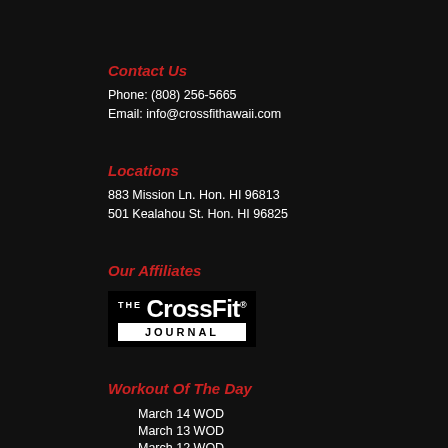Contact Us
Phone: (808) 256-5665
Email: info@crossfithawaii.com
Locations
883 Mission Ln. Hon. HI 96813
501 Kealahou St. Hon. HI 96825
Our Affiliates
[Figure (logo): The CrossFit Journal logo — black background with white bold CrossFit text and a white bar with JOURNAL in black letters]
Workout Of The Day
March 14 WOD
March 13 WOD
March 12 WOD